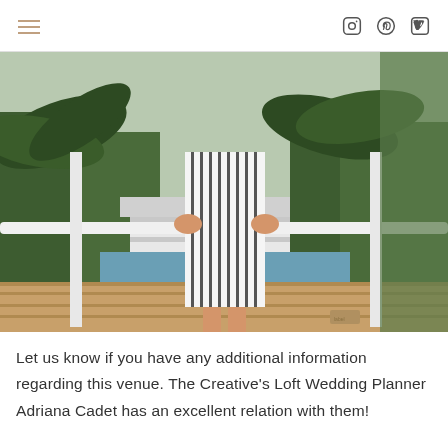hamburger menu | social icons: Instagram, Pinterest, Vimeo
[Figure (photo): Person standing on a wooden balcony railing wearing a white and black striped dress and black sneakers, with palm trees and a white rooftop visible in the background.]
Let us know if you have any additional information regarding this venue. The Creative's Loft Wedding Planner Adriana Cadet has an excellent relation with them!